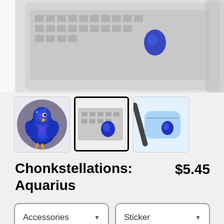[Figure (photo): Product photo showing sticker on laptop keyboard, partially cropped]
[Figure (photo): Three product thumbnails: 1) Aquarius galaxy chicken figurine, 2) sticker on laptop (selected), 3) sticker on blue fanny pack]
Chonkstellations: Aquarius
$5.45
Accessories
Sticker
COLOR